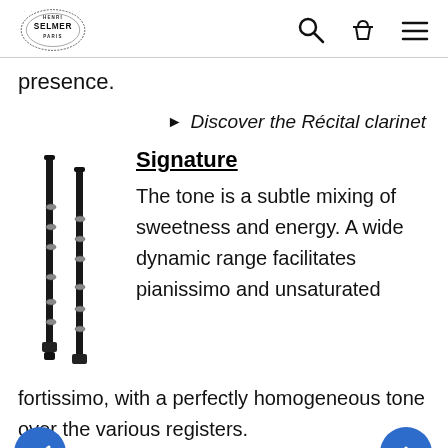[Figure (logo): Henri Selmer Paris logo with circular text and 'SELMER PARIS' text, plus navigation icons: search, basket, hamburger menu]
presence.
► Discover the Récital clarinet
Signature
[Figure (photo): Two black clarinets side by side]
The tone is a subtle mixing of sweetness and energy. A wide dynamic range facilitates pianissimo and unsaturated fortissimo, with a perfectly homogeneous tone over the various registers.
► Discover the Signature clarinet